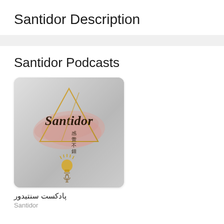Santidor Description
Santidor Podcasts
[Figure (illustration): Podcast cover art for Santidor. Light grey/silver gradient background with rounded corners. Gold triangle outline in center-top area. Pink watercolor brush stroke behind the triangle. Black Gothic-style text 'Santidor' across the middle. Below that, vertical Chinese characters '感覺不錯'. At the bottom, a golden lightbulb icon with radiating lines resembling a sun, with a small microphone symbol underneath.]
پادکست سنتیدور
Santidor